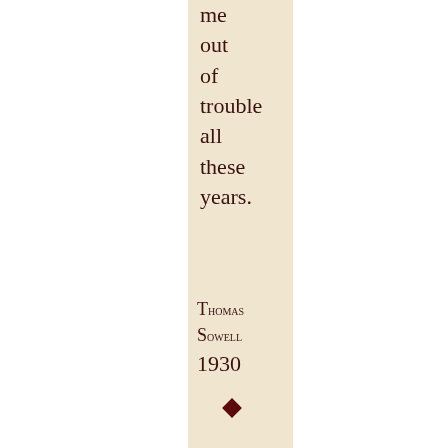me out of trouble all these years.
Thomas Sowell 1930
[Figure (illustration): Decorative calligraphic swirl flourish in dark ink]
However mean your life is, meet it and